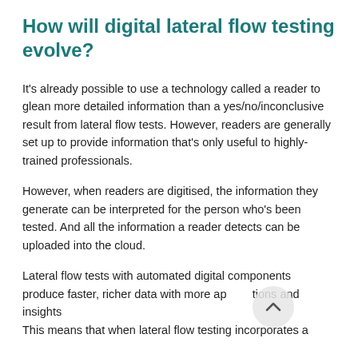How will digital lateral flow testing evolve?
It's already possible to use a technology called a reader to glean more detailed information than a yes/no/inconclusive result from lateral flow tests. However, readers are generally set up to provide information that's only useful to highly-trained professionals.
However, when readers are digitised, the information they generate can be interpreted for the person who's been tested. And all the information a reader detects can be uploaded into the cloud.
Lateral flow tests with automated digital components produce faster, richer data with more ap  tions and insights
This means that when lateral flow testing incorporates a